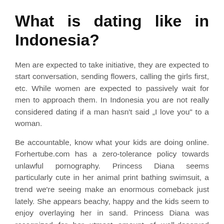What is dating like in Indonesia?
Men are expected to take initiative, they are expected to start conversation, sending flowers, calling the girls first, etc. While women are expected to passively wait for men to approach them. In Indonesia you are not really considered dating if a man hasn’t said „I love you“ to a woman.
Be accountable, know what your kids are doing online. Forhertube.com has a zero-tolerance policy towards unlawful pornography. Princess Diana seems particularly cute in her animal print bathing swimsuit, a trend we’re seeing make an enormous comeback just lately. She appears beachy, happy and the kids seem to enjoy overlaying her in sand. Princess Diana was recognized for her utmost amount of well-deserved confidence in herself.